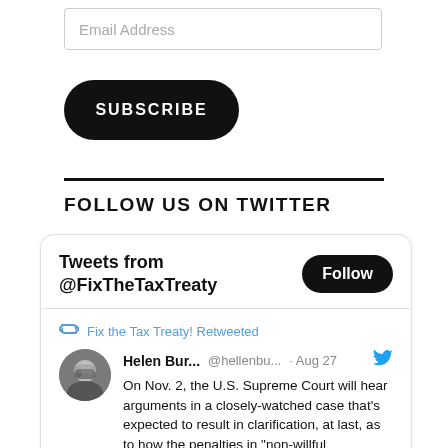Email Address
SUBSCRIBE
FOLLOW US ON TWITTER
Tweets from @FixTheTaxTreaty
Follow
Fix the Tax Treaty! Retweeted
Helen Bur... @hellenbu... · Aug 27
On Nov. 2, the U.S. Supreme Court will hear arguments in a closely-watched case that's expected to result in clarification, at last, as to how the penalties in "non-willful